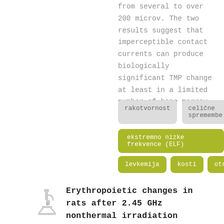from several to over 200 microv. The two results suggest that imperceptible contact currents can produce biologically significant TMP change at least in a limited number of bone marrow stroma cells."
rakotvornost
celične spremembe
ekstremno nizke frekvence (ELF)
levkemija
kosti
otroci
[Figure (illustration): Small microscope icon in light gray]
Erythropoietic changes in rats after 2.45 GHz nonthermal irradiation